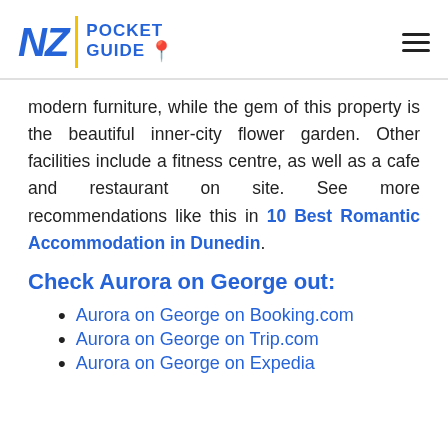NZ POCKET GUIDE
modern furniture, while the gem of this property is the beautiful inner-city flower garden. Other facilities include a fitness centre, as well as a cafe and restaurant on site. See more recommendations like this in 10 Best Romantic Accommodation in Dunedin.
Check Aurora on George out:
Aurora on George on Booking.com
Aurora on George on Trip.com
Aurora on George on Expedia